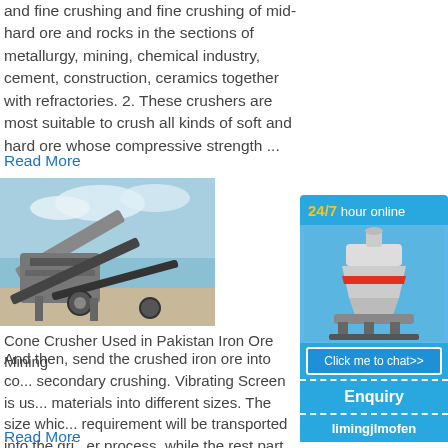and fine crushing and fine crushing of mid-hard ore and rocks in the sections of metallurgy, mining, chemical industry, cement, construction, ceramics together with refractories. 2. These crushers are most suitable to crush all kinds of soft and hard ore whose compressive strength ...
Read More
[Figure (photo): Photo of a cone crusher or screening machine used in mining, shown outdoors with blue sky background]
Cone Crusher Used in Pakistan Iron Ore Mining
And then, send the crushed iron ore into co... secondary crushing. Vibrating Screen is us... materials into different sizes. The size whic... requirement will be transported into the gri... er process, while the rest part will be returned... or re-crushing.
Read More
[Figure (infographic): Sidebar widget with blue background showing '24/7 hour online', an image of a cone crusher machine, a 'Click me to chat>>' button, 'Enquiry' section, and 'limingjlmofen' username]